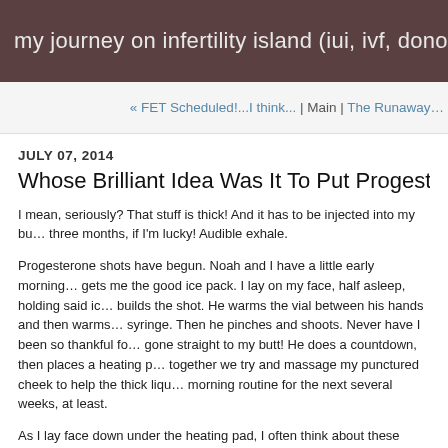my journey on infertility island (iui, ivf, donor eggs, embry…
« FET Scheduled!...I think... | Main | The Runaway…
JULY 07, 2014
Whose Brilliant Idea Was It To Put Progesterone In Ses…
I mean, seriously? That stuff is thick! And it has to be injected into my bu… three months, if I'm lucky! Audible exhale.
Progesterone shots have begun. Noah and I have a little early morning… gets me the good ice pack. I lay on my face, half asleep, holding said ic… builds the shot. He warms the vial between his hands and then warms… syringe. Then he pinches and shoots. Never have I been so thankful fo… gone straight to my butt! He does a countdown, then places a heating p… together we try and massage my punctured cheek to help the thick liqu… morning routine for the next several weeks, at least.
As I lay face down under the heating pad, I often think about these inti… these moments that make me convinced that there is just as much love… conceiving our child, as there is when people do it the old fashioned w…